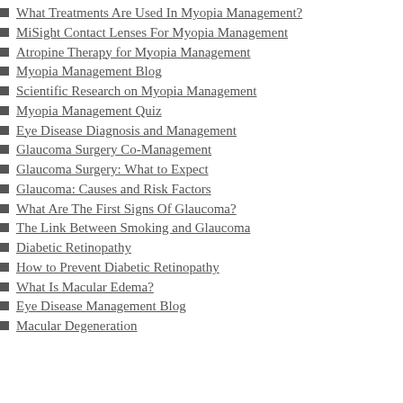What Treatments Are Used In Myopia Management?
MiSight Contact Lenses For Myopia Management
Atropine Therapy for Myopia Management
Myopia Management Blog
Scientific Research on Myopia Management
Myopia Management Quiz
Eye Disease Diagnosis and Management
Glaucoma Surgery Co-Management
Glaucoma Surgery: What to Expect
Glaucoma: Causes and Risk Factors
What Are The First Signs Of Glaucoma?
The Link Between Smoking and Glaucoma
Diabetic Retinopathy
How to Prevent Diabetic Retinopathy
What Is Macular Edema?
Eye Disease Management Blog
Macular Degeneration